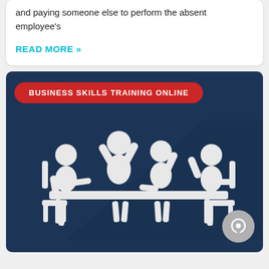and paying someone else to perform the absent employee's
READ MORE »
[Figure (illustration): Dark navy blue card with a red pill-shaped badge reading 'BUSINESS SKILLS TRAINING ONLINE' and a white flat icon illustration of four people sitting around a conference table, two with arms raised. A grey circular chat icon appears in the bottom right corner.]